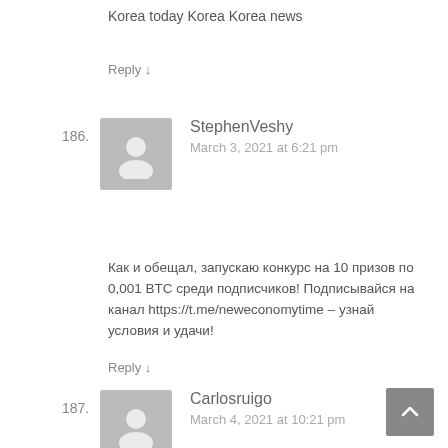Korea today Korea Korea news
Reply ↓
186. StephenVeshy
March 3, 2021 at 6:21 pm
Как и обещал, запускаю конкурс на 10 призов по 0,001 BTC среди подписчиков! Подписывайся на канал https://t.me/neweconomytime – узнай условия и удачи!
Reply ↓
187. Carlosruigo
March 4, 2021 at 10:21 pm